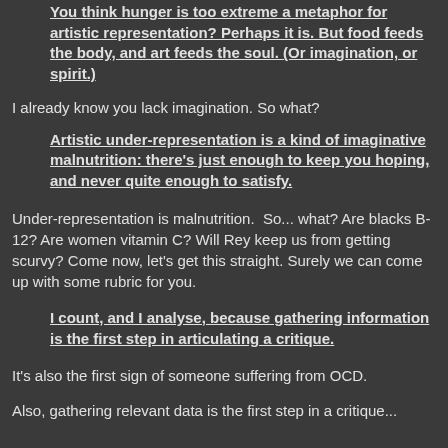You think hunger is too extreme a metaphor for artistic representation? Perhaps it is. But food feeds the body, and art feeds the soul. (Or imagination, or spirit.)
I already know you lack imagination. So what?
Artistic under-representation is a kind of imaginative malnutrition: there's just enough to keep you hoping, and never quite enough to satisfy.
Under-representation is malnutrition.  So... what? Are blacks B-12? Are women vitamin C? Will Rey keep us from getting scurvy? Come now, let's get this straight. Surely we can come up with some rubric for you.
I count, and I analyse, because gathering information is the first step in articulating a critique.
It's also the first sign of someone suffering from OCD.
Also, gathering relevant data is the first step in a critique...